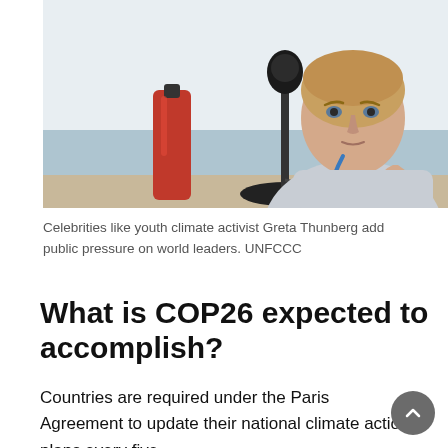[Figure (photo): Young woman (youth climate activist Greta Thunberg) sitting at a table with a red water bottle and a microphone, resting her chin on her hand, looking to the side. Blue and white background wall visible.]
Celebrities like youth climate activist Greta Thunberg add public pressure on world leaders. UNFCCC
What is COP26 expected to accomplish?
Countries are required under the Paris Agreement to update their national climate action plans every five